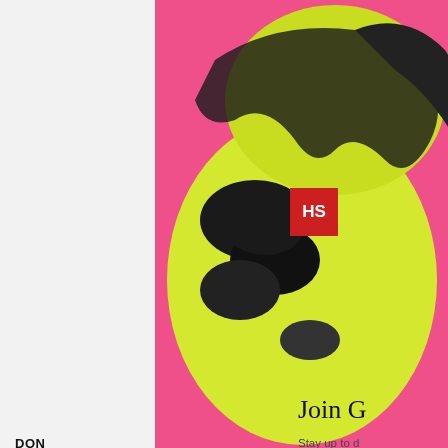[Figure (screenshot): Website background showing a Warhol-style pop art portrait (yellow-green and pink on hot pink background), partially visible left sidebar with 'DON...' and 'Playi...' text, HS red badge logo, and 'Join G...' heading with 'Stay up to d...' and 'artists.Sign...' text on right side.]
[Figure (screenshot): Chat widget popup from Drift. Shows avatar of Mike Barber (man with beard), header reading 'Mike Barber from Hamilton Selway' with X close button. Message reads: 'Hi, Thanks for visiting our website. Please leave your message or inquiry below and we'll get back to you as soon as possible.' Reply input field labeled 'Reply to Mike Barber'. Footer: 'Chat ⚡ by Drift']